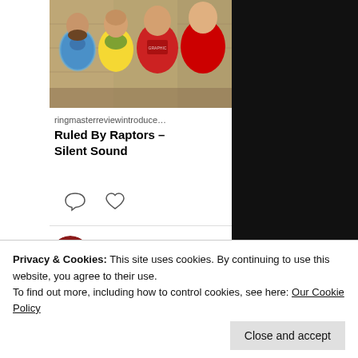[Figure (photo): Photo of four men (a band) posing together against a stone wall background. One man wears a blue tie-dye shirt, one a yellow Brazil football jersey, one a red graphic t-shirt, and one in a dark top.]
ringmasterreviewintroduce…
Ruled By Raptors – Silent Sound
[Figure (illustration): Comment bubble icon and heart/like icon (social media interaction icons)]
[Figure (photo): Circular avatar photo of Pete Ring, a person wearing a red garment]
Pete Ring…  @… · Aug 28
Privacy & Cookies: This site uses cookies. By continuing to use this website, you agree to their use.
To find out more, including how to control cookies, see here: Our Cookie Policy
@gracesolero album @ …